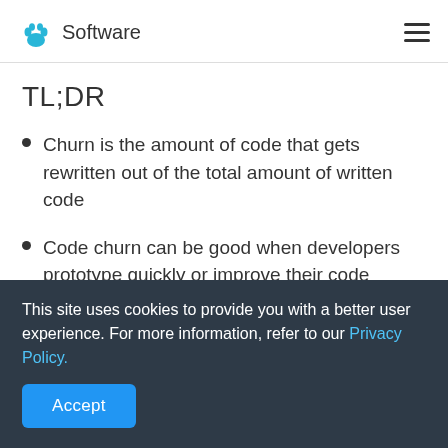Software
TL;DR
Churn is the amount of code that gets rewritten out of the total amount of written code
Code churn can be good when developers prototype quickly or improve their code
This site uses cookies to provide you with a better user experience. For more information, refer to our Privacy Policy.